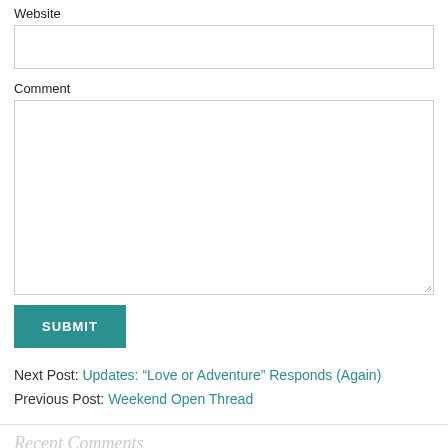Website
Comment
SUBMIT
Next Post: Updates: “Love or Adventure” Responds (Again)
Previous Post: Weekend Open Thread
Recent Comments